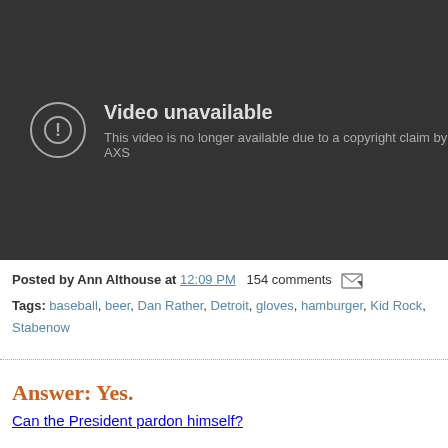[Figure (screenshot): YouTube video unavailable error screen with dark background. Circle exclamation icon on left. Text reads: 'Video unavailable' and 'This video is no longer available due to a copyright claim by AXS']
Posted by Ann Althouse at 12:09 PM   154 comments
Tags: baseball, beer, Dan Rather, Detroit, gloves, hamburger, Kid Rock, Stabenow
Answer: Yes.
Can the President pardon himself?